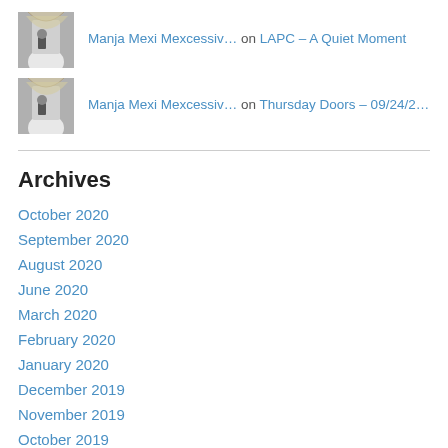[Figure (photo): Avatar photo of a person with long blonde hair taking a selfie with a camera]
Manja Mexi Mexcessiv… on LAPC – A Quiet Moment
[Figure (photo): Avatar photo of a person with long blonde hair taking a selfie with a camera]
Manja Mexi Mexcessiv… on Thursday Doors – 09/24/2…
Archives
October 2020
September 2020
August 2020
June 2020
March 2020
February 2020
January 2020
December 2019
November 2019
October 2019
September 2019